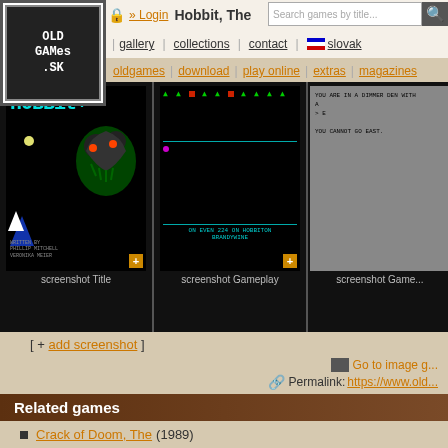OldGames.SK — Hobbit, The | gallery | collections | contact | slovak | oldgames | download | play online | extras | magazines
[Figure (screenshot): Screenshot Title - Hobbit game title screen on black background with colored text and dragon]
[Figure (screenshot): Screenshot Gameplay - Hobbit game gameplay screen with green trees and maze]
[Figure (screenshot): Screenshot Gameplay - Text adventure screen on grey background]
[ + add screenshot ]
Go to image g...
Permalink: https://www.old...
Related games
Crack of Doom, The (1989)
Fellowship of the Ring, The (1985)
Shadows of Mordor, The (1987)
You can contribute to this game (Hobbit, The) at OldGames.